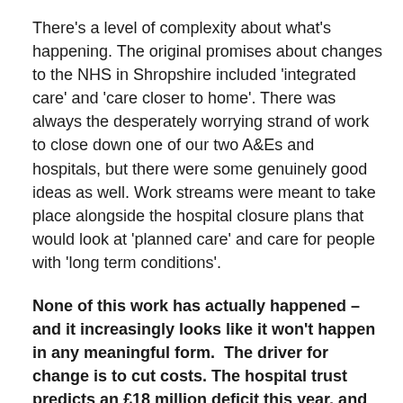There's a level of complexity about what's happening. The original promises about changes to the NHS in Shropshire included 'integrated care' and 'care closer to home'. There was always the desperately worrying strand of work to close down one of our two A&Es and hospitals, but there were some genuinely good ideas as well. Work streams were meant to take place alongside the hospital closure plans that would look at 'planned care' and care for people with 'long term conditions'.
None of this work has actually happened – and it increasingly looks like it won't happen in any meaningful form. The driver for change is to cut costs. The hospital trust predicts an £18 million deficit this year, and its recovery plan is to make cost savings of £12 million a year. That's why they are so